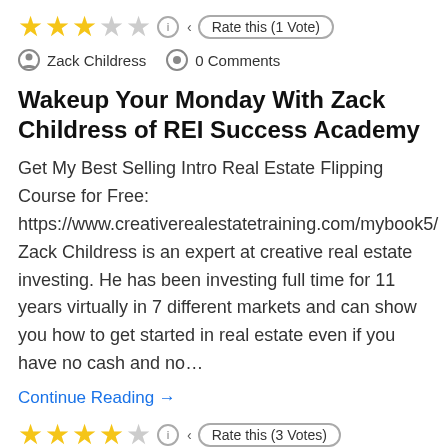[Figure (other): Star rating row showing 3 filled stars and 2 empty stars, info badge, and 'Rate this (1 Vote)' button]
Zack Childress   0 Comments
Wakeup Your Monday With Zack Childress of REI Success Academy
Get My Best Selling Intro Real Estate Flipping Course for Free: https://www.creativerealestatetraining.com/mybook5/ Zack Childress is an expert at creative real estate investing. He has been investing full time for 11 years virtually in 7 different markets and can show you how to get started in real estate even if you have no cash and no…
Continue Reading →
[Figure (other): Star rating row showing 4 filled stars and 1 empty star, info badge, and 'Rate this (3 Votes)' button]